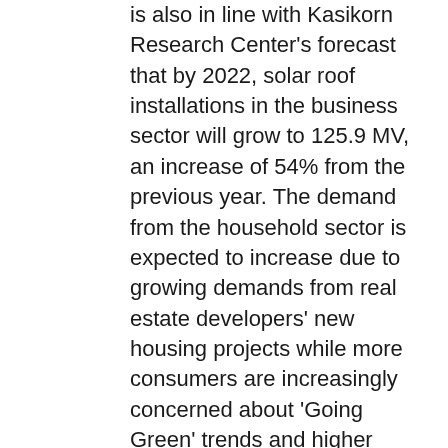is also in line with Kasikorn Research Center's forecast that by 2022, solar roof installations in the business sector will grow to 125.9 MV, an increase of 54% from the previous year. The demand from the household sector is expected to increase due to growing demands from real estate developers' new housing projects while more consumers are increasingly concerned about 'Going Green' trends and higher electric bills,
The collaboration between KBank and Huawei, the leading digital power supplier with a network of highly specialized solar rooftop installers, will bring both financial assistance and innovative products to support the green ecosystem from upstream to